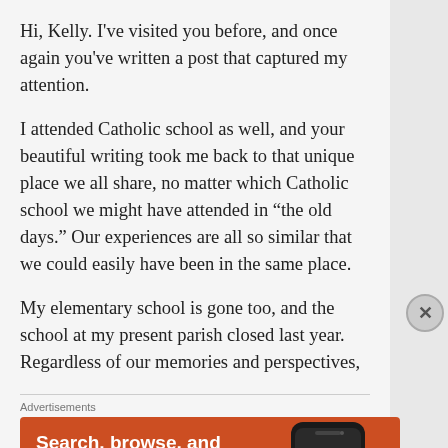Hi, Kelly. I've visited you before, and once again you've written a post that captured my attention.
I attended Catholic school as well, and your beautiful writing took me back to that unique place we all share, no matter which Catholic school we might have attended in “the old days.” Our experiences are all so similar that we could easily have been in the same place.
My elementary school is gone too, and the school at my present parish closed last year. Regardless of our memories and perspectives,
Advertisements
[Figure (infographic): DuckDuckGo advertisement on orange background: 'Search, browse, and email with more privacy. All in One Free App' with phone image and DuckDuckGo logo.]